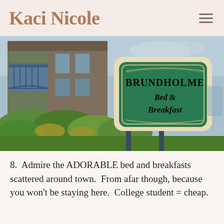Kaci Nicole
[Figure (photo): Photo of a Brundholme Bed & Breakfast sign in front of a Victorian-style building with blue trim, surrounded by greenery.]
8.  Admire the ADORABLE bed and breakfasts scattered around town.  From afar though, because you won't be staying here.  College student = cheap.